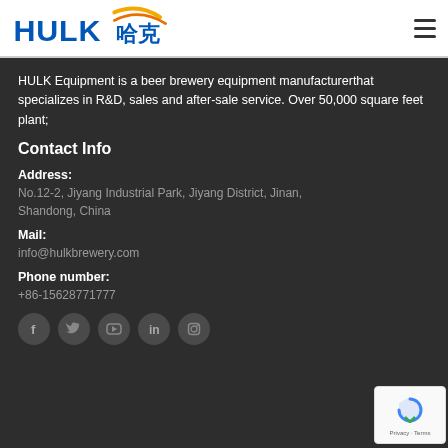HULK 哈克 — navigation header with hamburger menu
HULK Equipment is a beer brewery equipment manufacturerthat specializes in R&D, sales and after-sale service. Over 50,000 square feet plant;
Contact Info
Address:
No.12-2, Jiyang Industrial Park, Jiyang District, Jinan, Shandong, China
Mail:
info@hulkbrewery.com
Phone number:
+86-15628771777
[Figure (other): Social media icons row: Facebook, Twitter, YouTube, LinkedIn, Instagram]